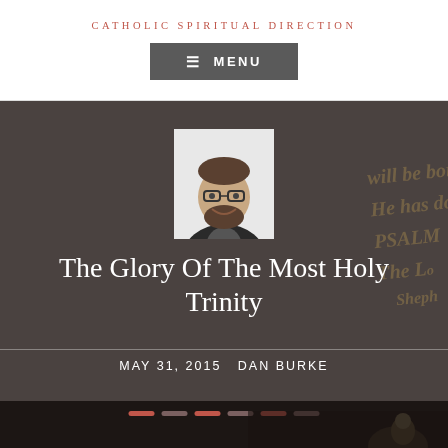Catholic Spiritual Direction
MENU
[Figure (photo): Black and white portrait photo of Dan Burke, a bearded man wearing glasses and smiling]
The Glory Of The Most Holy Trinity
MAY 31, 2015  DAN BURKE
[Figure (photo): Dark scene at bottom showing a figure in dim lighting]